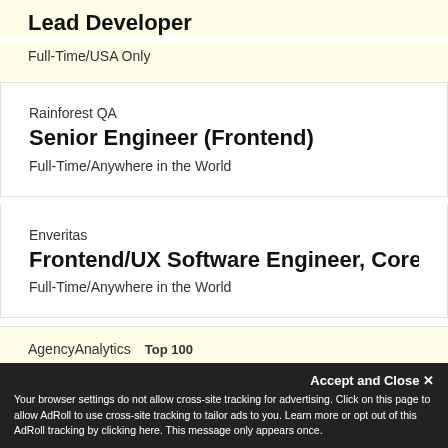Lead Developer
Full-Time/USA Only
Rainforest QA
Senior Engineer (Frontend)
Full-Time/Anywhere in the World
Enveritas
Frontend/UX Software Engineer, Core Eng
Full-Time/Anywhere in the World
AgencyAnalytics
Top 100
Accept and Close ✕
Your browser settings do not allow cross-site tracking for advertising. Click on this page to allow AdRoll to use cross-site tracking to tailor ads to you. Learn more or opt out of this AdRoll tracking by clicking here. This message only appears once.